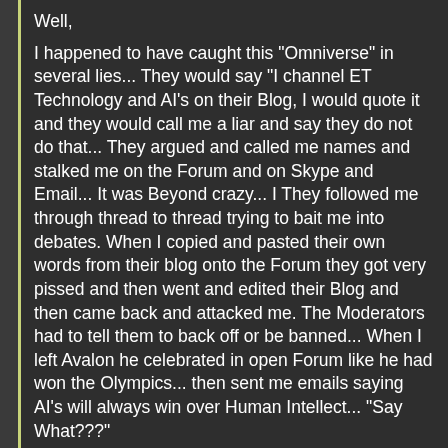Well,
I happened to have caught this "Omniverse" in several lies... They would say "I channel ET Technology and AI's on their Blog, I would quote it and they would call me a liar and say they do not do that... They argued and called me names and stalked me on the Forum and on Skype and Email... It was Beyond crazy... I They followed me through thread to thread trying to bait me into debates. When I copied and pasted their own words from their blog onto the Forum they got very pissed and then went and edited their Blog and then came back and attacked me. The Moderators had to tell them to back off or be banned... When I left Avalon he celebrated in open Forum like he had won the Olympics... then sent me emails saying AI's will always win over Human Intellect... "Say What???"